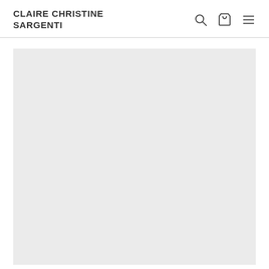CLAIRE CHRISTINE SARGENTI
[Figure (screenshot): Large light gray placeholder image area below the navigation header]